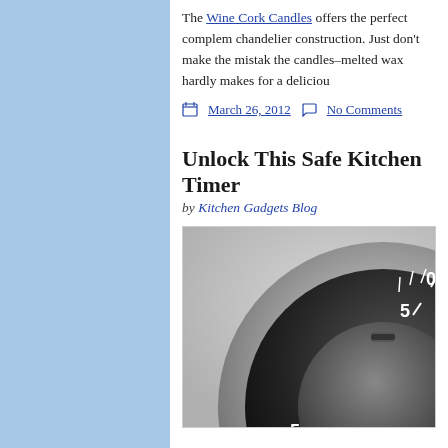The Wine Cork Candles offers the perfect complement to chandelier construction. Just don't make the mistake of lighting the candles–melted wax hardly makes for a delicious...
March 26, 2012   No Comments
Unlock This Safe Kitchen Timer
by Kitchen Gadgets Blog
[Figure (photo): Close-up photo of a combination safe dial/lock face, showing numbers 5, 10 and tick marks on a dark metallic dial with silver outer ring.]